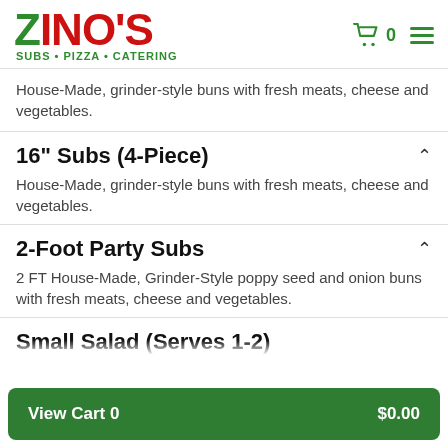[Figure (logo): Zino's Subs Pizza Catering logo with green Z and red INO'S lettering]
House-Made, grinder-style buns with fresh meats, cheese and vegetables.
16" Subs (4-Piece)
House-Made, grinder-style buns with fresh meats, cheese and vegetables.
2-Foot Party Subs
2 FT House-Made, Grinder-Style poppy seed and onion buns with fresh meats, cheese and vegetables.
Small Salad (Serves 1-2)
View Cart 0  $0.00